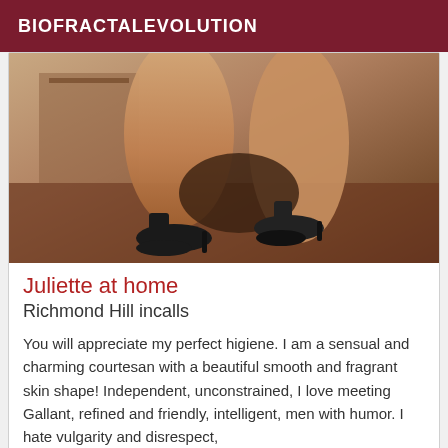BIOFRACTALEVOLUTION
[Figure (photo): Close-up photo of legs wearing black high heels on a brown surface with a dresser in the background]
Juliette at home
Richmond Hill incalls
You will appreciate my perfect higiene. I am a sensual and charming courtesan with a beautiful smooth and fragrant skin shape! Independent, unconstrained, I love meeting Gallant, refined and friendly, intelligent, men with humor. I hate vulgarity and disrespect,
[Figure (photo): Partial photo with VIP badge in top left corner, dark/grey tones]